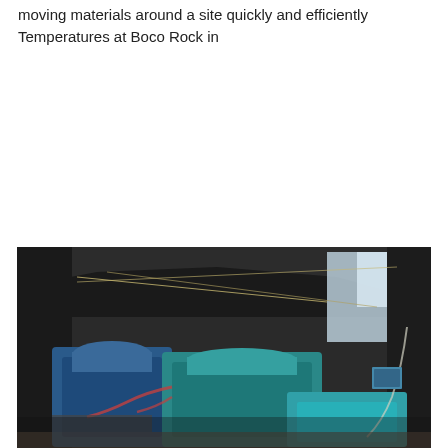moving materials around a site quickly and efficiently Temperatures at Boco Rock in
[Figure (photo): Industrial machinery or generator equipment photographed indoors under a dark roof structure, showing large blue and teal-colored mechanical components with pipes and wiring, set in what appears to be a mining or industrial facility.]